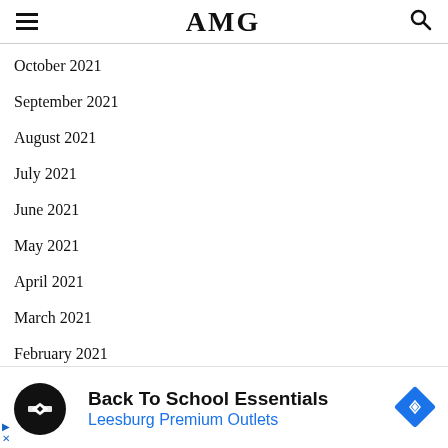AMG
October 2021
September 2021
August 2021
July 2021
June 2021
May 2021
April 2021
March 2021
February 2021
2021
[Figure (infographic): Advertisement banner: Back To School Essentials, Leesburg Premium Outlets, with circular black logo and blue diamond navigation icon]